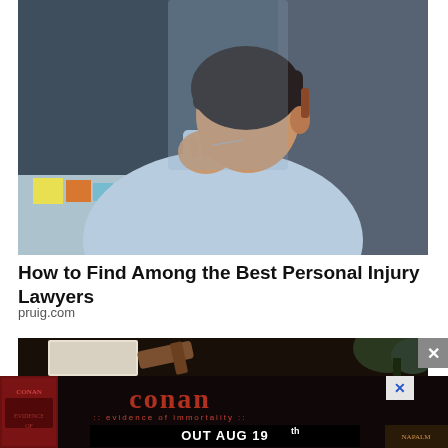[Figure (photo): Person viewed from behind, holding their neck/shoulder area in apparent pain, wearing a light blue shirt, seated in a dark office chair, with desk and sticky notes visible in the background]
How to Find Among the Best Personal Injury Lawyers
pruig.com
[Figure (photo): Partially visible image showing a gavel and plant, darkened, with an advertisement banner overlay for Conan band 'Evidence of Immortality' album out Aug 19th]
:: evidence of immortality :: OUT AUG 19th